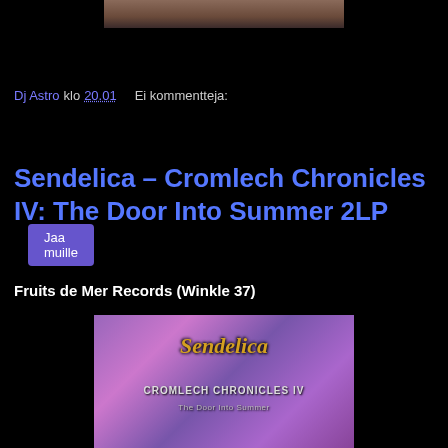[Figure (photo): Partial photo of a person at the top of the page]
Dj Astro klo 20.01    Ei kommentteja:
Jaa muille
Sendelica – Cromlech Chronicles IV: The Door Into Summer 2LP
Fruits de Mer Records (Winkle 37)
[Figure (photo): Album cover for Sendelica – Cromlech Chronicles IV: The Door Into Summer, showing stylized purple/pink forest background with ornate Sendelica logo in gold and text CROMLECH CHRONICLES IV below]